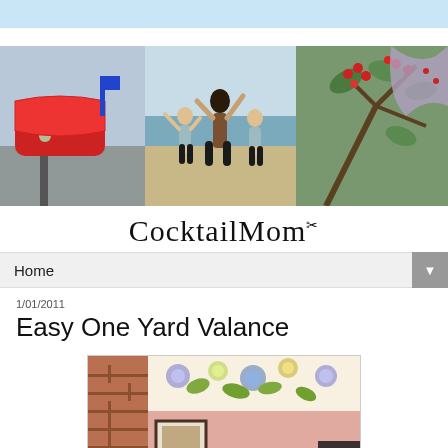[Figure (photo): Light blue header bar at top of blog page]
[Figure (photo): Blog header collage with three photos: red floral mailbox on left, woman and two boys on beach in center, close-up of plant with red berries on right]
CocktailMom
Home
1/01/2011
Easy One Yard Valance
[Figure (photo): Photo showing a floral fabric valance hung over a window/wall area with brick wall and pink wall visible, framed picture below on left side]